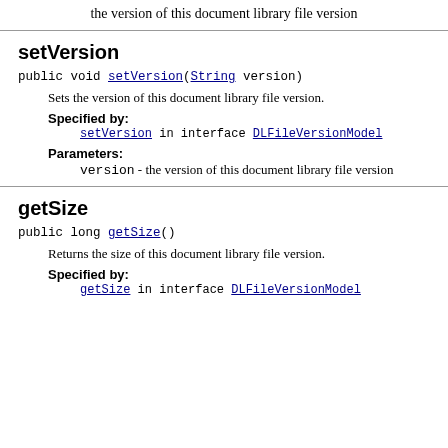the version of this document library file version
setVersion
public void setVersion(String version)
Sets the version of this document library file version.
Specified by:
setVersion in interface DLFileVersionModel
Parameters:
version - the version of this document library file version
getSize
public long getSize()
Returns the size of this document library file version.
Specified by:
getSize in interface DLFileVersionModel